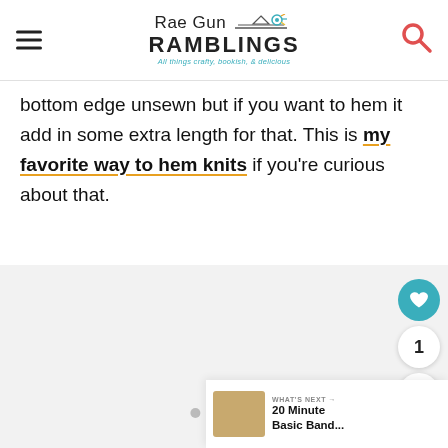Rae Gun RAMBLINGS — All things crafty, bookish, & delicious
bottom edge unsewn but if you want to hem it add in some extra length for that. This is my favorite way to hem knits if you're curious about that.
[Figure (photo): Image carousel area with three navigation dots at the bottom, partially visible photo content]
WHAT'S NEXT → 20 Minute Basic Band...